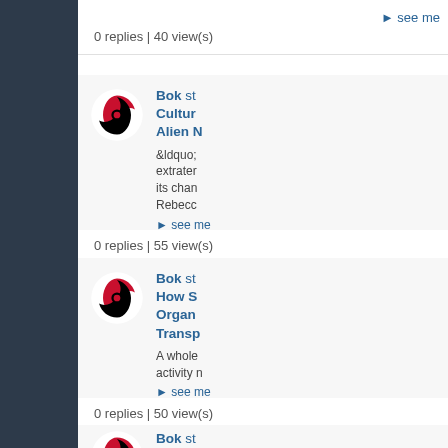▶ see me
0 replies | 40 view(s)
[Figure (logo): Carolina Hurricanes NHL team logo - black and red swirling hurricane symbol]
Bok started a thread Culture... Alien N...
&ldquo; extrater... its chan... Rebecc...
▶ see me
0 replies | 55 view(s)
[Figure (logo): Carolina Hurricanes NHL team logo - black and red swirling hurricane symbol]
Bok started a thread How S... Organ... Transp...
A whole... activity n...
▶ see me
0 replies | 50 view(s)
[Figure (logo): Carolina Hurricanes NHL team logo - black and red swirling hurricane symbol]
Bok st...